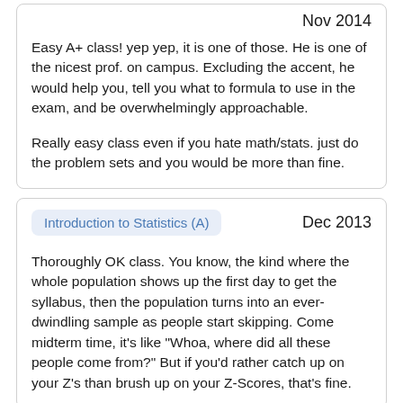Nov 2014
Easy A+ class! yep yep, it is one of those. He is one of the nicest prof. on campus. Excluding the accent, he would help you, tell you what to formula to use in the exam, and be overwhelmingly approachable.
Really easy class even if you hate math/stats. just do the problem sets and you would be more than fine.
Introduction to Statistics (A)
Dec 2013
Thoroughly OK class. You know, the kind where the whole population shows up the first day to get the syllabus, then the population turns into an ever-dwindling sample as people start skipping. Come midterm time, it's like "Whoa, where did all these people come from?" But if you'd rather catch up on your Z's than brush up on your Z-Scores, that's fine.